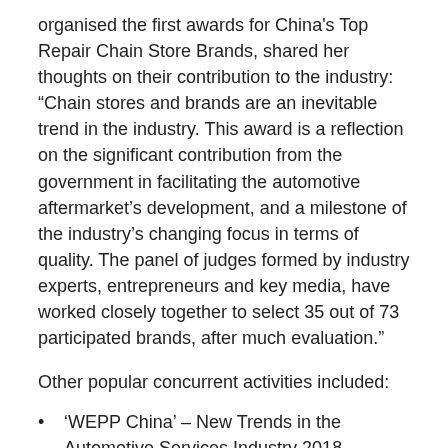organised the first awards for China's Top Repair Chain Store Brands, shared her thoughts on their contribution to the industry: “Chain stores and brands are an inevitable trend in the industry. This award is a reflection on the significant contribution from the government in facilitating the automotive aftermarket’s development, and a milestone of the industry’s changing focus in terms of quality. The panel of judges formed by industry experts, entrepreneurs and key media, have worked closely together to select 35 out of 73 participated brands, after much evaluation.”
Other popular concurrent activities included:
‘WEPP China’ – New Trends in the Automotive Services Industry 2018, China’s Automotive Service Industry Summit – Technology Innovation